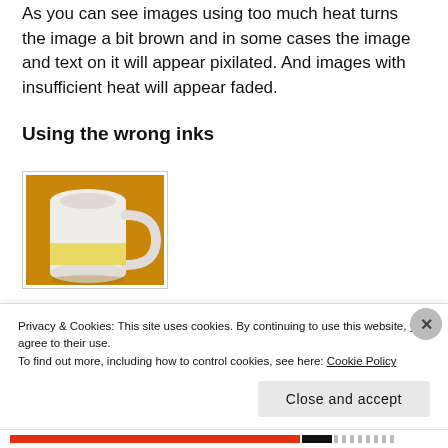As you can see images using too much heat turns the image a bit brown and in some cases the image and text on it will appear pixilated.  And images with insufficient heat will appear faded.
Using the wrong inks
[Figure (photo): A white ceramic mug with a yellow design on an orange/brown background.]
Privacy & Cookies: This site uses cookies. By continuing to use this website, you agree to their use.
To find out more, including how to control cookies, see here: Cookie Policy
Close and accept